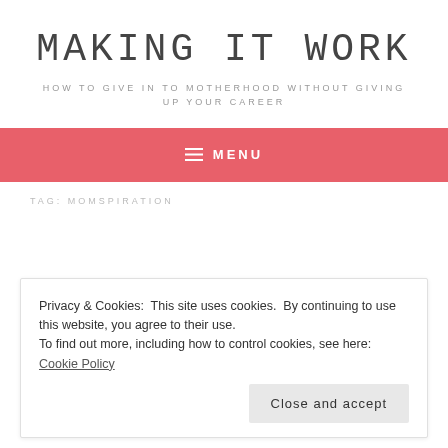MAKING IT WORK
HOW TO GIVE IN TO MOTHERHOOD WITHOUT GIVING UP YOUR CAREER
≡ MENU
TAG: MOMSPIRATION
Privacy & Cookies: This site uses cookies. By continuing to use this website, you agree to their use.
To find out more, including how to control cookies, see here: Cookie Policy
Close and accept